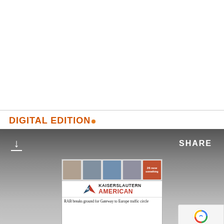DIGITAL EDITION
[Figure (screenshot): Digital edition banner with download icon, SHARE label, and a newspaper preview showing the Kaiserslautern American front page with headline 'RAB breaks ground for Gateway to Europe traffic circle']